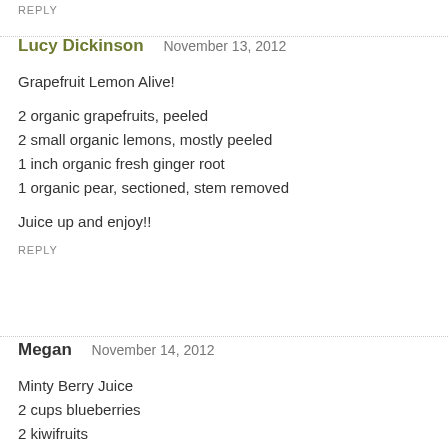REPLY
Lucy Dickinson   November 13, 2012
Grapefruit Lemon Alive!

2 organic grapefruits, peeled
2 small organic lemons, mostly peeled
1 inch organic fresh ginger root
1 organic pear, sectioned, stem removed

Juice up and enjoy!!
REPLY
Megan   November 14, 2012
Minty Berry Juice
2 cups blueberries
2 kiwifruits
16 strawberries
2 cups packed mint leaves